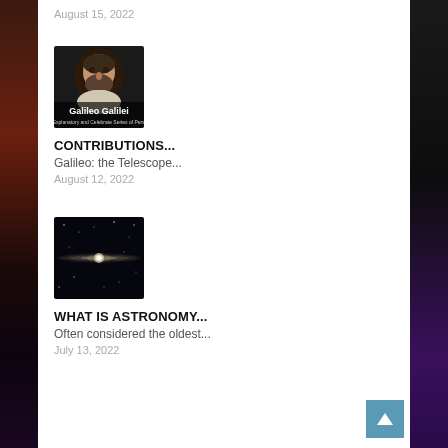August 15, 2022
[Figure (photo): Portrait of Galileo Galilei with text overlay 'Galileo Galilei']
CONTRIBUTIONS...
Galileo: the Telescope...
August 12, 2022
[Figure (photo): Galaxy image showing a bright light streak across a dark starfield]
WHAT IS ASTRONOMY...
Often considered the oldest...
July 13, 2022